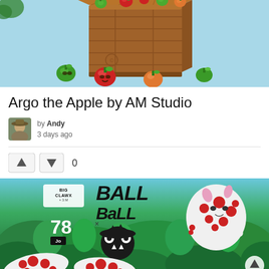[Figure (photo): Photo of colorful apple figurines spilling out of a wooden crate against a light blue background. Multiple small apple characters in red, green, and orange colors with faces.]
Argo the Apple by AM Studio
by Andy
3 days ago
[Figure (other): Upvote/downvote buttons with score of 0]
[Figure (photo): Big Clawx x Ball Ball promotional image showing spotted creature figurines in an aquatic plant setting with Ball Ball logo text and skull character icon.]